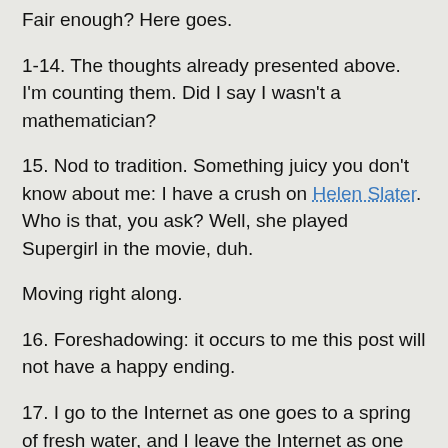Fair enough? Here goes.
1-14. The thoughts already presented above. I'm counting them. Did I say I wasn't a mathematician?
15. Nod to tradition. Something juicy you don't know about me: I have a crush on Helen Slater. Who is that, you ask? Well, she played Supergirl in the movie, duh.
Moving right along.
16. Foreshadowing: it occurs to me this post will not have a happy ending.
17. I go to the Internet as one goes to a spring of fresh water, and I leave the Internet as one clambers out of a poisoned river strewn with the wreckage of flooded cities and the corpses of the drowned.
18. I didn't say that. Arthur Koestler said it, except he